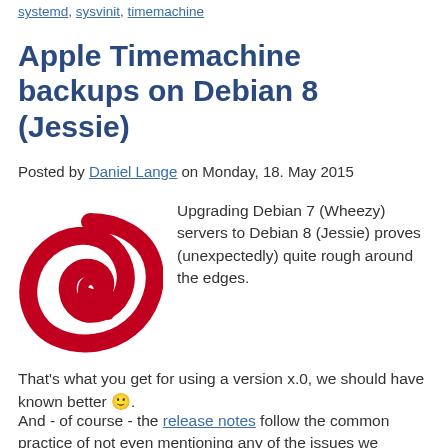systemd, sysvinit, timemachine
Apple Timemachine backups on Debian 8 (Jessie)
Posted by Daniel Lange on Monday, 18. May 2015
[Figure (logo): Debian swirl logo in red]
Upgrading Debian 7 (Wheezy) servers to Debian 8 (Jessie) proves (unexpectedly) quite rough around the edges.

That's what you get for using a version x.0, we should have known better 🙂.

And - of course - the release notes follow the common practice of not even mentioning any of the issues we encountered so far.

Ah, well, let's go through the first one: